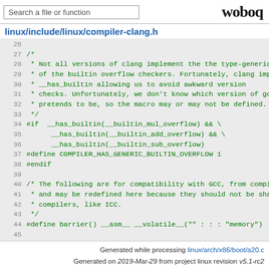Search a file or function | woboq
linux/include/linux/compiler-clang.h
[Figure (screenshot): Source code viewer showing lines 26-45 of compiler-clang.h with line numbers and syntax highlighting in green monospace font on grey background]
Generated while processing linux/arch/x86/boot/a20.c
Generated on 2019-Mar-29 from project linux revision v5.1-rc2
Powered by woboq Code Browser 2.1
Generator usage only permitted with license.
Imprint - Privacy Policy - Google Analytics Tracking Opt-Out - Contact - About